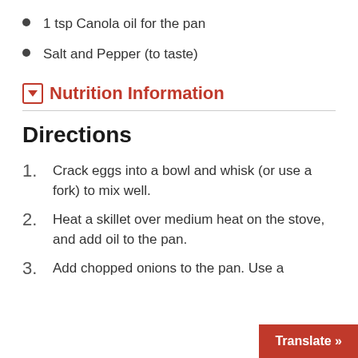1 tsp Canola oil for the pan
Salt and Pepper (to taste)
Nutrition Information
Directions
1. Crack eggs into a bowl and whisk (or use a fork) to mix well.
2. Heat a skillet over medium heat on the stove, and add oil to the pan.
3. Add chopped onions to the pan. Use a